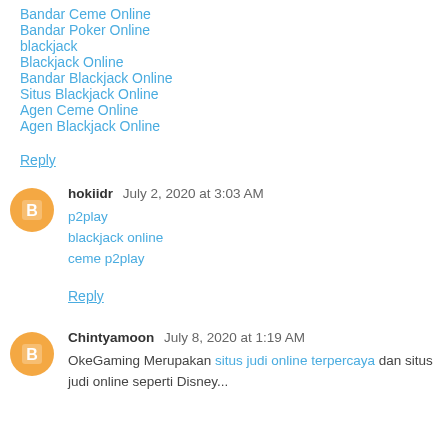Bandar Ceme Online
Bandar Poker Online
blackjack
Blackjack Online
Bandar Blackjack Online
Situs Blackjack Online
Agen Ceme Online
Agen Blackjack Online
Reply
hokiidr  July 2, 2020 at 3:03 AM
p2play
blackjack online
ceme p2play
Reply
Chintyamoon  July 8, 2020 at 1:19 AM
OkeGaming Merupakan situs judi online terpercaya dan situs judi online seperti Disney...